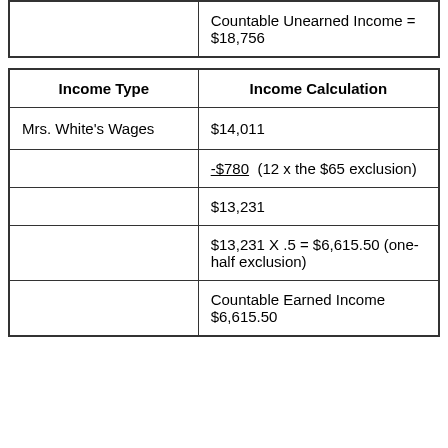|  |  |
| --- | --- |
|  | Countable Unearned Income = $18,756 |
| Income Type | Income Calculation |
| --- | --- |
| Mrs. White's Wages | $14,011 |
|  | -$780  (12 x the $65 exclusion) |
|  | $13,231 |
|  | $13,231 X .5 = $6,615.50 (one-half exclusion) |
|  | Countable Earned Income $6,615.50 |